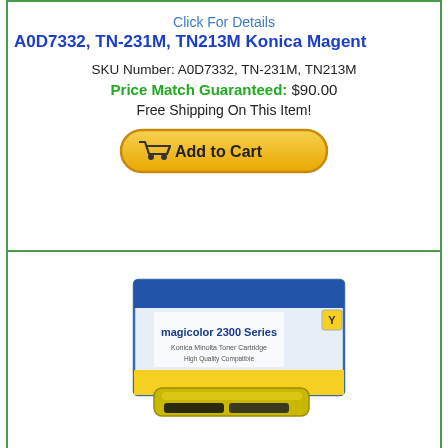Click For Details
A0D7332, TN-231M, TN213M Konica Magent
SKU Number: A0D7332, TN-231M, TN213M
Price Match Guaranteed: $90.00
Free Shipping On This Item!
[Figure (photo): Konica Minolta magicolor 2300 Series yellow toner cartridge with box]
Click For Details
1710517-002 Konica Minolta Yellow Toner